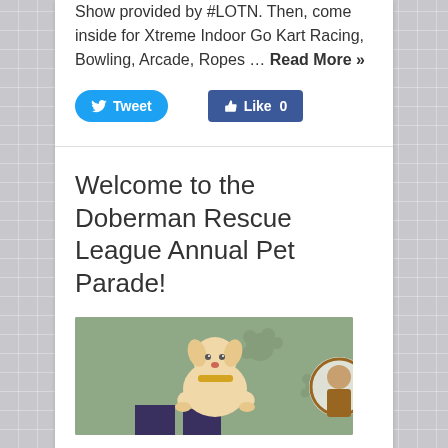Show provided by #LOTN. Then, come inside for Xtreme Indoor Go Kart Racing, Bowling, Arcade, Ropes … Read More »
[Figure (screenshot): Social media buttons: a blue Twitter Tweet button and a blue Facebook Like 0 button]
Welcome to the Doberman Rescue League Annual Pet Parade!
[Figure (illustration): Cartoon illustration of a light-colored dog standing in front of a dark background, with paw print watermarks on a sage green background. Partial circular logo visible at right edge.]